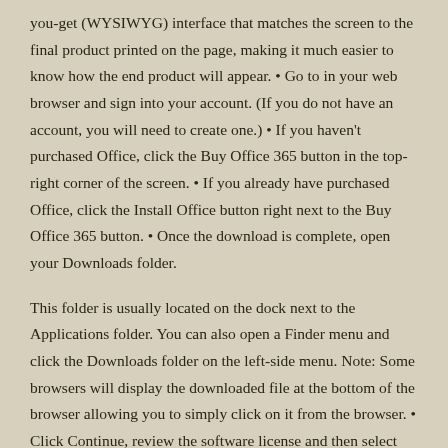you-get (WYSIWYG) interface that matches the screen to the final product printed on the page, making it much easier to know how the end product will appear. • Go to in your web browser and sign into your account. (If you do not have an account, you will need to create one.) • If you haven't purchased Office, click the Buy Office 365 button in the top-right corner of the screen. • If you already have purchased Office, click the Install Office button right next to the Buy Office 365 button. • Once the download is complete, open your Downloads folder.
This folder is usually located on the dock next to the Applications folder. You can also open a Finder menu and click the Downloads folder on the left-side menu. Note: Some browsers will display the downloaded file at the bottom of the browser allowing you to simply click on it from the browser. • Click Continue, review the software license and then select Agree. • The next section is to select the destination.
Mac OS X Speciality level out of ten: 0 Jun 2, 2016 6:50 AM in response